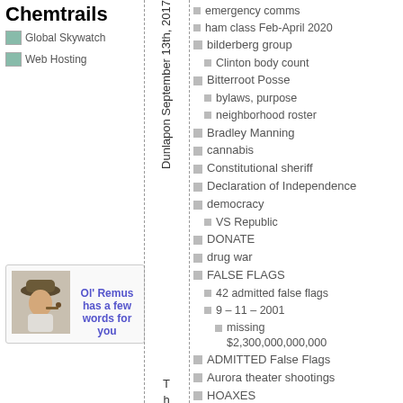Chemtrails
Global Skywatch
Web Hosting
[Figure (photo): Man with hat and pipe with text 'Ol' Remus has a few words for you']
emergency comms
ham class Feb-April 2020
bilderberg group
Clinton body count
Bitterroot Posse
bylaws, purpose
neighborhood roster
Bradley Manning
cannabis
Constitutional sheriff
Declaration of Independence
democracy
VS Republic
DONATE
drug war
FALSE FLAGS
42 admitted false flags
9 – 11 – 2001
missing
$2,300,000,000,000
ADMITTED False Flags
Aurora theater shootings
HOAXES
Mandalay Bay shooting
San Bernardino
Sandy Hook hoax
Sandy Hook Redux
Dunlapons September 13th, 2017
Th